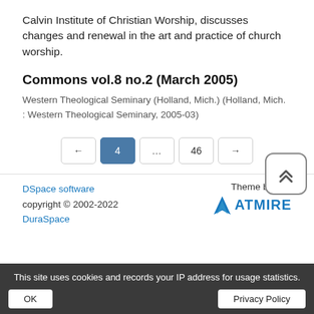Calvin Institute of Christian Worship, discusses changes and renewal in the art and practice of church worship.
Commons vol.8 no.2 (March 2005)
Western Theological Seminary (Holland, Mich.) (Holland, Mich. : Western Theological Seminary, 2005-03)
← 4 ... 46 →
DSpace software copyright © 2002-2022 DuraSpace | Theme by ATMIRE | This site uses cookies and records your IP address for usage statistics. OK | Privacy Policy